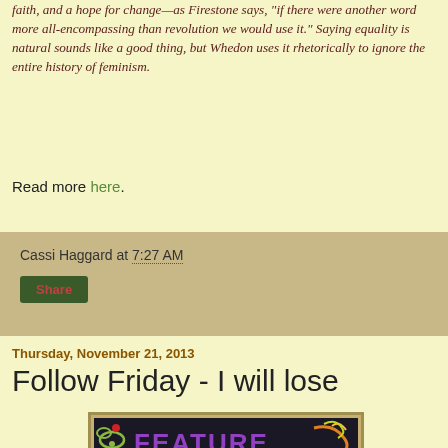faith, and a hope for change—as Firestone says, "if there were another word more all-encompassing than revolution we would use it." Saying equality is natural sounds like a good thing, but Whedon uses it rhetorically to ignore the entire history of feminism.
Read more here.
Cassi Haggard at 7:27 AM
Share
Thursday, November 21, 2013
Follow Friday - I will lose
[Figure (photo): Colorful 'FEATURE' text logo on dark background with decorative floral and swirl elements]